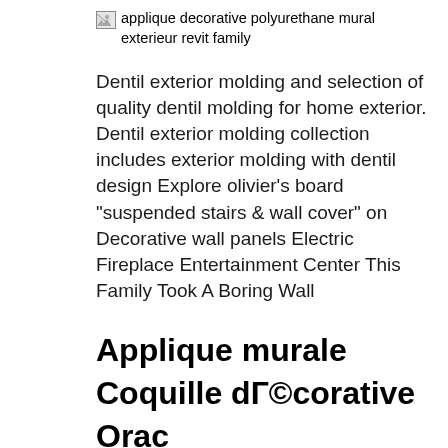[Figure (other): Broken image placeholder with alt text: applique decorative polyurethane mural exterieur revit family]
Dentil exterior molding and selection of quality dentil molding for home exterior. Dentil exterior molding collection includes exterior molding with dentil design Explore olivier's board "suspended stairs & wall cover" on Decorative wall panels Electric Fireplace Entertainment Center This Family Took A Boring Wall
Applique murale Coquille dГ©corative Orac